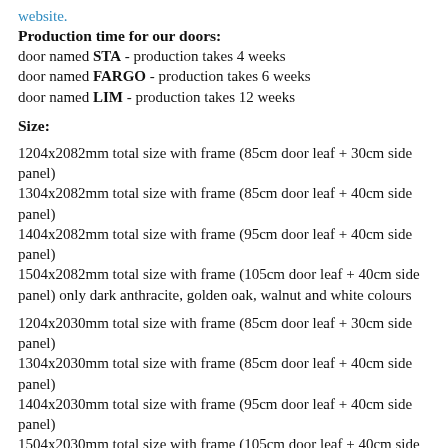website.
Production time for our doors:
door named STA - production takes 4 weeks
door named FARGO - production takes 6 weeks
door named LIM - production takes 12 weeks
Size:
1204x2082mm total size with frame (85cm door leaf + 30cm side panel)
1304x2082mm total size with frame (85cm door leaf + 40cm side panel)
1404x2082mm total size with frame (95cm door leaf + 40cm side panel)
1504x2082mm total size with frame (105cm door leaf + 40cm side panel) only dark anthracite, golden oak, walnut and white colours
1204x2030mm total size with frame (85cm door leaf + 30cm side panel)
1304x2030mm total size with frame (85cm door leaf + 40cm side panel)
1404x2030mm total size with frame (95cm door leaf + 40cm side panel)
1504x2030mm total size with frame (105cm door leaf + 40cm side panel) only dark anthracite, golden oak, walnut and white colours